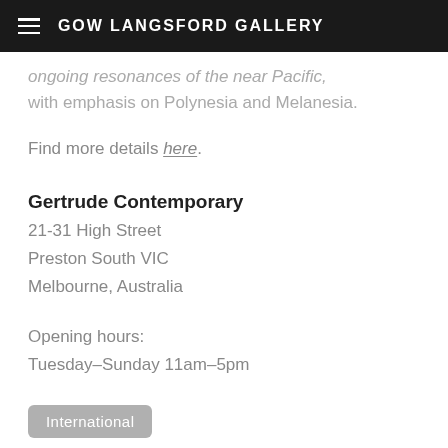GOW LANGSFORD GALLERY
ongoing resonances of the near Pacific, with emphasis on Polynesia and Melanesia.
Find more details here.
Gertrude Contemporary
21-31 High Street
Preston South VIC
Melbourne, Australia
Opening hours:
Tuesday–Sunday 11am–5pm
International